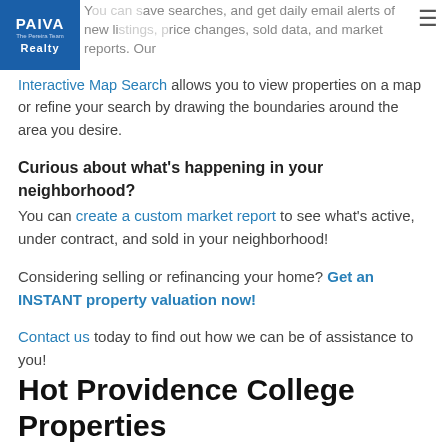PAIVA Realty — The Pereira Team — save searches, and get daily email alerts of new listings, price changes, sold data, and market reports.
Interactive Map Search allows you to view properties on a map or refine your search by drawing the boundaries around the area you desire.
Curious about what's happening in your neighborhood? You can create a custom market report to see what's active, under contract, and sold in your neighborhood!
Considering selling or refinancing your home? Get an INSTANT property valuation now!
Contact us today to find out how we can be of assistance to you!
Hot Providence College Properties